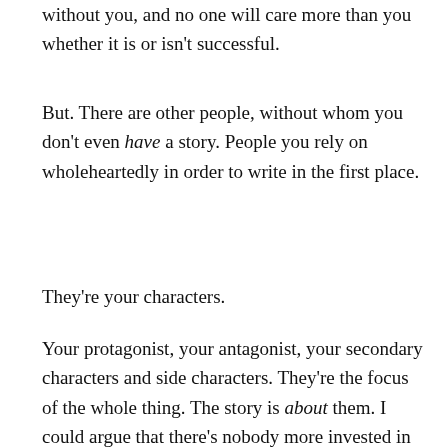without you, and no one will care more than you whether it is or isn't successful.
But. There are other people, without whom you don't even have a story. People you rely on wholeheartedly in order to write in the first place.
They're your characters.
Your protagonist, your antagonist, your secondary characters and side characters. They're the focus of the whole thing. The story is about them. I could argue that there's nobody more invested in your story than its characters, because without it, they don't even exist. Or if